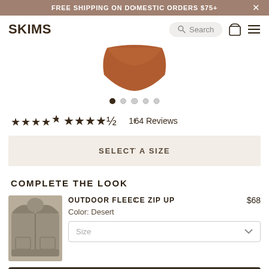FREE SHIPPING ON DOMESTIC ORDERS $75+
[Figure (logo): SKIMS logo in bold dark brown rounded letters]
[Figure (screenshot): Search bar with magnifying glass icon, shopping bag icon, hamburger menu icon]
[Figure (photo): Product image - brown/terracotta colored brief underwear, partially visible at top]
[Figure (other): Image carousel dots: 5 dots, first one filled dark, rest light gray]
★★★★½ 164 Reviews
SELECT A SIZE
COMPLETE THE LOOK
[Figure (photo): Product thumbnail: khaki/desert colored cropped zip-up hoodie fleece jacket]
OUTDOOR FLEECE ZIP UP
$68
Color: Desert
Size
ADD